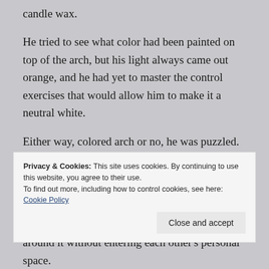candle wax.
He tried to see what color had been painted on top of the arch, but his light always came out orange, and he had yet to master the control exercises that would allow him to make it a neutral white.
Either way, colored arch or no, he was puzzled. And Yam Hist of the Ken Seekers loved puzzles.
Barely considering if he would bring his own fiery death upon himself, Yam brightened his light and began
Privacy & Cookies: This site uses cookies. By continuing to use this website, you agree to their use.
To find out more, including how to control cookies, see here: Cookie Policy
around it without entering each other's personal space.